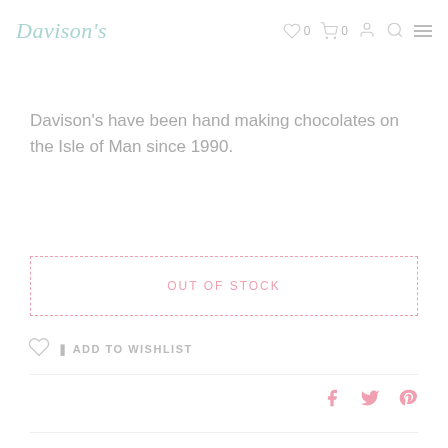Davison's — nav icons: wishlist 0, cart 0, account, search, menu
Davison's have been hand making chocolates on the Isle of Man since 1990.
OUT OF STOCK
ADD TO WISHLIST
[Figure (other): Social share icons: Facebook, Twitter, Pinterest in pink]